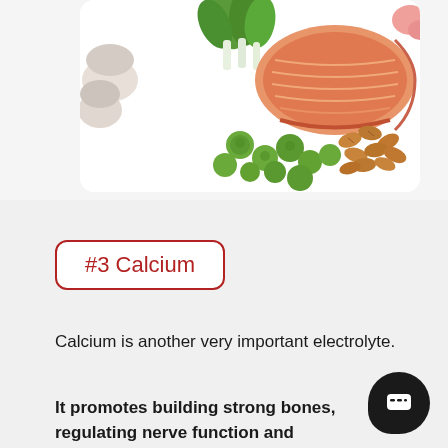[Figure (photo): Overhead photo of healthy foods including salmon steak, bok choy, Brussels sprouts, almonds, and mushrooms on a white background]
#3 Calcium
Calcium is another very important electrolyte.
It promotes building strong bones, regulating nerve function and